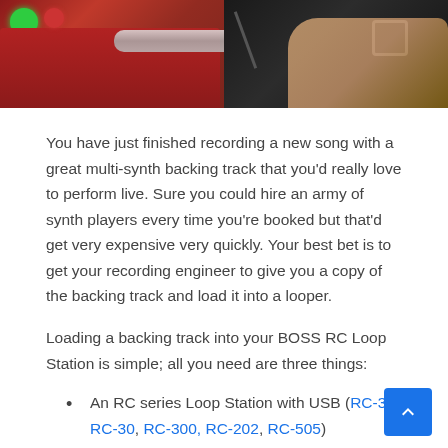[Figure (photo): Split photo: left side shows a red BOSS RC Loop Station device with green and red indicator lights and a cylindrical connector/tube; right side shows a person's hand (wearing a watch) connecting a cable to audio equipment against a dark background.]
You have just finished recording a new song with a great multi-synth backing track that you'd really love to perform live. Sure you could hire an army of synth players every time you're booked but that'd get very expensive very quickly. Your best bet is to get your recording engineer to give you a copy of the backing track and load it into a looper.
Loading a backing track into your BOSS RC Loop Station is simple; all you need are three things:
An RC series Loop Station with USB (RC-3, RC-30, RC-300, RC-202, RC-505)
A USB Cable (if you have a USB printer you should be able